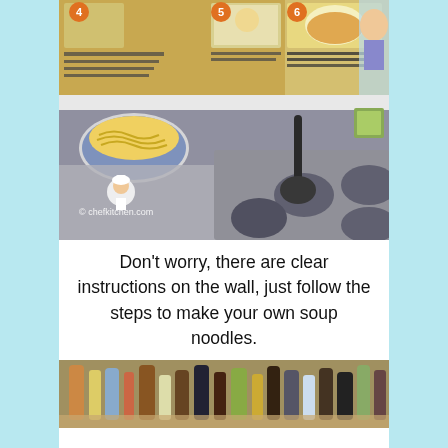[Figure (photo): Photo of a self-serve noodle soup station. Background shows a step-by-step instruction poster on the wall with Chinese and English text, numbered steps 4, 5, 6. In the foreground is a stainless steel cooker with multiple round pot wells and a ladle, and a blue-and-white bowl filled with yellow noodles sitting nearby. A small chef avatar/watermark is visible with text 'chefkitchen.com'.]
Don't worry, there are clear instructions on the wall, just follow the steps to make your own soup noodles.
[Figure (photo): Partial photo at bottom showing a condiments/drinks station with various bottles and containers on a counter.]